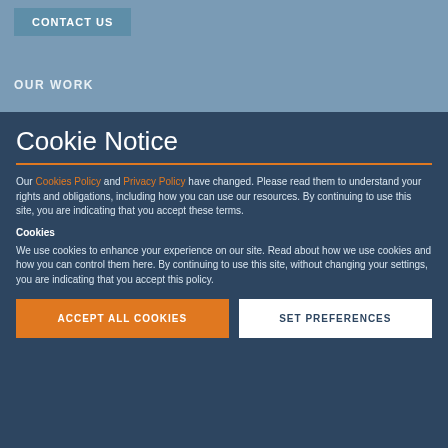CONTACT US
OUR WORK
Cookie Notice
Our Cookies Policy and Privacy Policy have changed. Please read them to understand your rights and obligations, including how you can use our resources. By continuing to use this site, you are indicating that you accept these terms.
Cookies
We use cookies to enhance your experience on our site. Read about how we use cookies and how you can control them here. By continuing to use this site, without changing your settings, you are indicating that you accept this policy.
ACCEPT ALL COOKIES
SET PREFERENCES